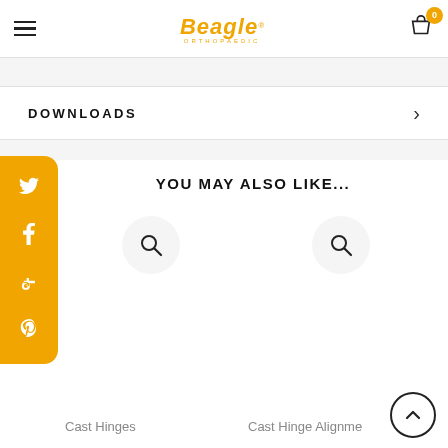Beagle Orthopaedic — navigation header with hamburger menu and cart
DOWNLOADS
YOU MAY ALSO LIKE...
Cast Hinges
Cast Hinge Alignment